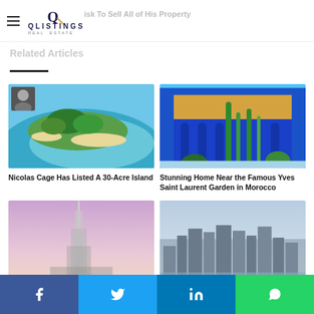QListings Real Estate
isk To Sell All of His Property
Related Articles
[Figure (photo): Aerial view of a small tropical island with turquoise water and sandy beach — article thumbnail for Nicolas Cage island listing]
[Figure (photo): Vibrant blue building exterior with cactus garden — Yves Saint Laurent Garden in Morocco article thumbnail]
Nicolas Cage Has Listed A 30-Acre Island
Stunning Home Near the Famous Yves Saint Laurent Garden in Morocco
[Figure (photo): Tall skyscraper (Burj Khalifa style) against a pink-purple sky — article thumbnail]
[Figure (photo): Aerial view of Manhattan / New York City skyline — article thumbnail]